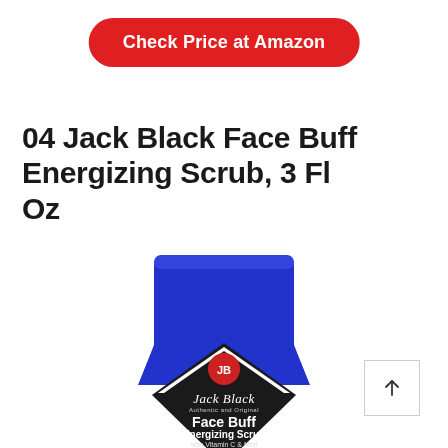Check Price at Amazon
04 Jack Black Face Buff Energizing Scrub, 3 Fl Oz
[Figure (photo): Product photo of Jack Black Face Buff Energizing Scrub 3 Fl Oz tube, predominantly blue with black label showing the JB logo, brand name in cursive, and product details including 'Face Buff Energizing Scrub with Vitamin C & Mint' and French text 'Exfoliant facial energisant a base de vitamine C et de menthe']